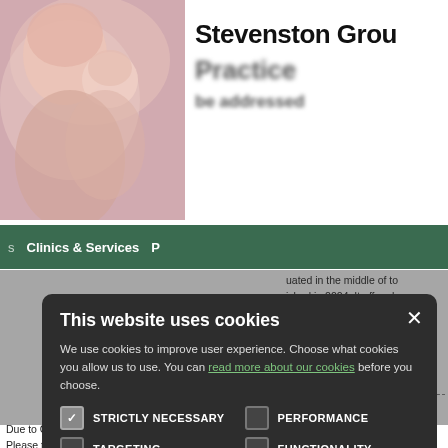[Figure (photo): Header photo of a mother and baby/child in a warm, close-up pose]
Stevenston Grou Practice
Clinics & Services
...uated in the middle of to...ished in 2004. It offers h...ities for the disabled. We...n are reserved for patients
...person or by phone for...you need this service wh...meras are live and...ere within the health cent
This website uses cookies
We use cookies to improve user experience. Choose what cookies you allow us to use. You can read more about our cookies before you choose.
STRICTLY NECESSARY
PERFORMANCE
TARGETING
FUNCTIONALITY
ACCEPT ALL
DECLINE ALL
Due to Covid-19 pandemic all appointment requests will now be triaged by teleph Please telephone the Practice on 01294 464413 if you need an appointment